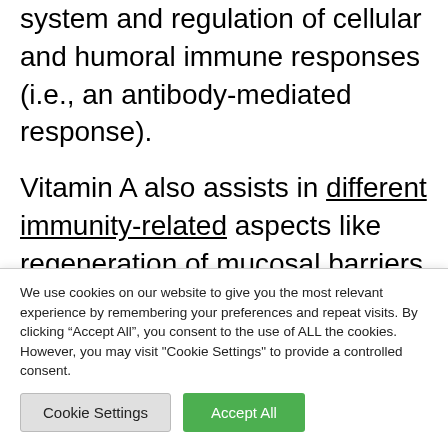including the development of the immune system and regulation of cellular and humoral immune responses (i.e., an antibody-mediated response).

Vitamin A also assists in different immunity-related aspects like regeneration of mucosal barriers and strengthening the activity of the white blood cells such as neutrophils, macrophages, lymphocytes, and NK (Natural
We use cookies on our website to give you the most relevant experience by remembering your preferences and repeat visits. By clicking “Accept All”, you consent to the use of ALL the cookies. However, you may visit "Cookie Settings" to provide a controlled consent.